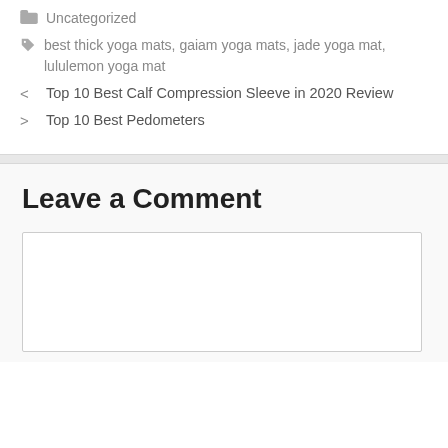Uncategorized
best thick yoga mats, gaiam yoga mats, jade yoga mat, lululemon yoga mat
< Top 10 Best Calf Compression Sleeve in 2020 Review
> Top 10 Best Pedometers
Leave a Comment